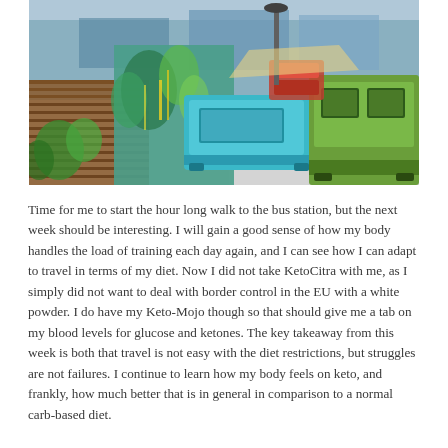[Figure (photo): Aerial/elevated view of a colorful outdoor area with painted murals, vintage trucks or buses in turquoise and green, wooden decking, and a street scene with buildings in the background.]
Time for me to start the hour long walk to the bus station, but the next week should be interesting. I will gain a good sense of how my body handles the load of training each day again, and I can see how I can adapt to travel in terms of my diet. Now I did not take KetoCitra with me, as I simply did not want to deal with border control in the EU with a white powder. I do have my Keto-Mojo though so that should give me a tab on my blood levels for glucose and ketones. The key takeaway from this week is both that travel is not easy with the diet restrictions, but struggles are not failures. I continue to learn how my body feels on keto, and frankly, how much better that is in general in comparison to a normal carb-based diet.